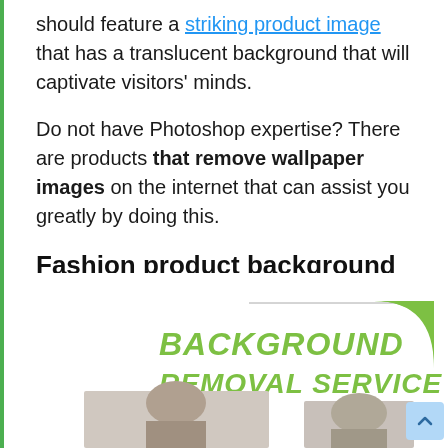should feature a striking product image that has a translucent background that will captivate visitors' minds.
Do not have Photoshop expertise? There are products that remove wallpaper images on the internet that can assist you greatly by doing this.
Fashion product background removal Service
[Figure (illustration): Banner advertisement for Background Removal Service showing green text on white background with a green decorative corner element and two photos of a woman with dark hair]